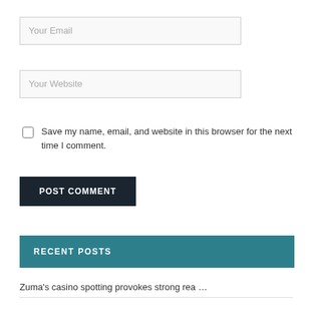Your Email
Your Website
Save my name, email, and website in this browser for the next time I comment.
POST COMMENT
RECENT POSTS
Zuma's casino spotting provokes strong rea …